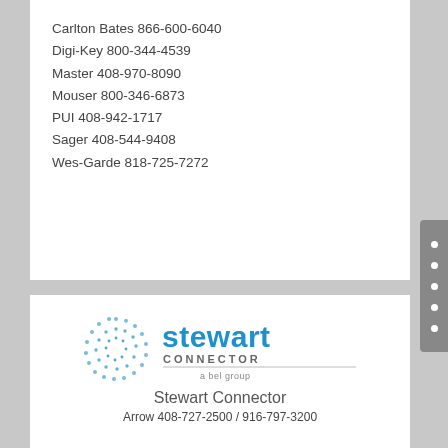Carlton Bates 866-600-6040
Digi-Key 800-344-4539
Master 408-970-8090
Mouser 800-346-6873
PUI 408-942-1717
Sager 408-544-9408
Wes-Garde 818-725-7272
[Figure (logo): Stewart Connector logo — a circular dot-pattern emblem in blue next to 'stewart CONNECTOR a bel group' text]
Stewart Connector
Arrow 408-727-2500 / 916-797-3200